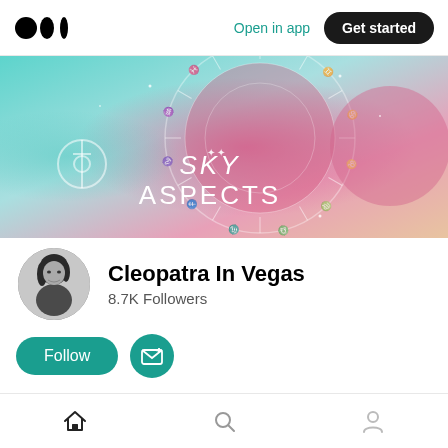Open in app | Get started
[Figure (illustration): Sky Aspects astrology banner with teal-to-pink gradient background showing a zodiac wheel chart with constellation symbols. Text reads SKY ASPECTS in white. A small Uranus/planet symbol appears on the left side.]
Cleopatra In Vegas
8.7K Followers
Follow | Subscribe email button
Home
About
Home | Search | Profile navigation icons